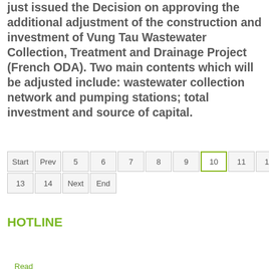just issued the Decision on approving the additional adjustment of the construction and investment of Vung Tau Wastewater Collection, Treatment and Drainage Project (French ODA). Two main contents which will be adjusted include: wastewater collection network and pumping stations; total investment and source of capital.
Read more ...
Start Prev 5 6 7 8 9 10 11 12 13 14 Next End
HOTLINE